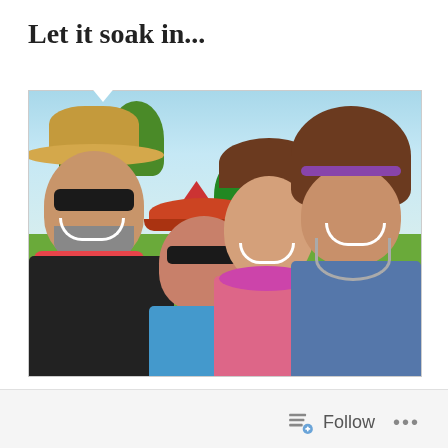Let it soak in...
[Figure (photo): A group selfie photo of four people at an outdoor festival. On the left is an older man wearing a straw hat, sunglasses, dark jacket, and pink scarf/bandana with a gray beard. Next to him is a woman wearing a red cap and sunglasses. In the center is a young woman with brown hair wearing a colorful floral top and a flower lei. On the right is a tall man with curly hair, a headband, and necklaces. Green trees and festival tents are visible in the background under a sunny sky.]
Follow ...